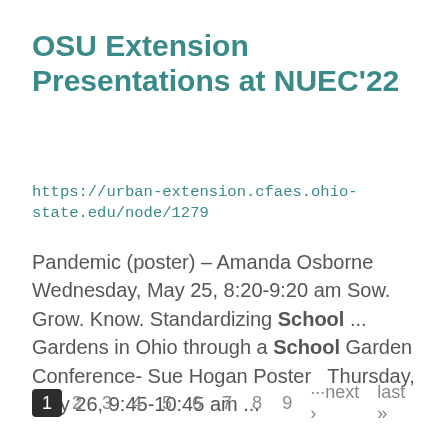OSU Extension Presentations at NUEC'22
https://urban-extension.cfaes.ohio-state.edu/node/1279
Pandemic (poster) – Amanda Osborne Wednesday, May 25, 8:20-9:20 am Sow. Grow. Know. Standardizing School ... Gardens in Ohio through a School Garden Conference- Sue Hogan Poster  Thursday, May 26, 9:45-10:45 am ...
1 2 3 4 5 6 7 8 9 ···next › last »